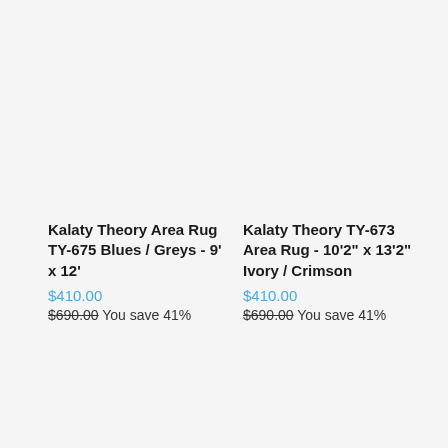Kalaty Theory Area Rug TY-675 Blues / Greys - 9' x 12'
$410.00
$690.00 You save 41%
Kalaty Theory TY-673 Area Rug - 10'2" x 13'2" Ivory / Crimson
$410.00
$690.00 You save 41%